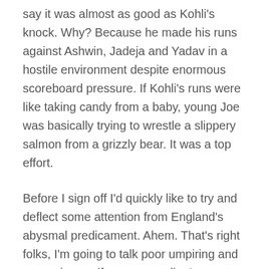say it was almost as good as Kohli's knock. Why? Because he made his runs against Ashwin, Jadeja and Yadav in a hostile environment despite enormous scoreboard pressure. If Kohli's runs were like taking candy from a baby, young Joe was basically trying to wrestle a slippery salmon from a grizzly bear. It was a top effort.
Before I sign off I'd quickly like to try and deflect some attention from England's abysmal predicament. Ahem. That's right folks, I'm going to talk poor umpiring and excessive vociferous appealing!
Some of the decisions Bruce Oxenford made